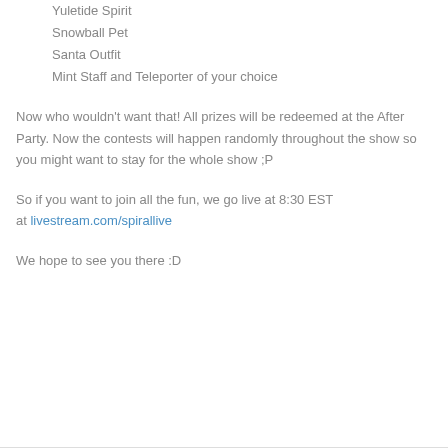Yuletide Spirit
Snowball Pet
Santa Outfit
Mint Staff and Teleporter of your choice
Now who wouldn't want that! All prizes will be redeemed at the After Party. Now the contests will happen randomly throughout the show so you might want to stay for the whole show ;P
So if you want to join all the fun, we go live at 8:30 EST at livestream.com/spirallive
We hope to see you there :D